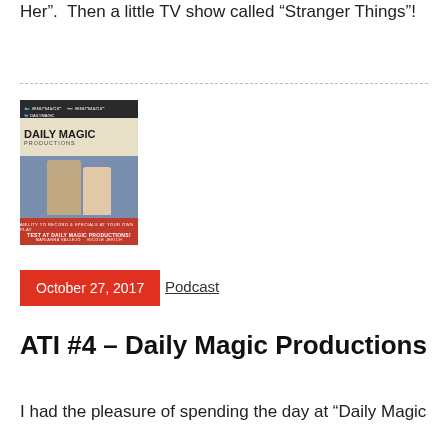Her".  Then a little TV show called "Stranger Things"!
[Figure (photo): Daily Magic Productions promotional image showing two women posing together with logo and red bottom bar reading 'Test at Daily Magic Productions!' with names Marianna Vallejo and Nicole Jekich]
October 27, 2017
Podcast
ATI #4 – Daily Magic Productions
I had the pleasure of spending the day at "Daily Magic